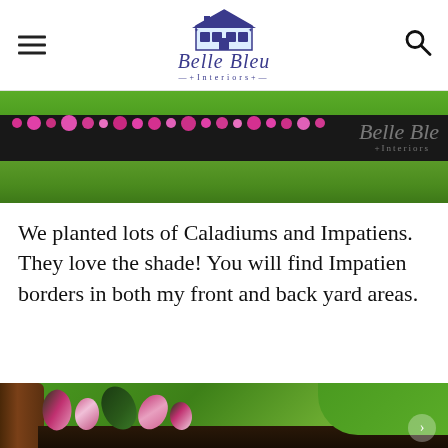Belle Bleu Interiors
[Figure (photo): Garden photo showing a dark mulch flower bed border with pink impatiens blooms and green grass, with a Belle Bleu Interiors watermark overlay]
We planted lots of Caladiums and Impatiens. They love the shade! You will find Impatien borders in both my front and back yard areas.
[Figure (photo): Close-up garden photo showing caladium plants with pink and green variegated leaves and pink impatiens flowers near a tree trunk, on mulch ground cover]